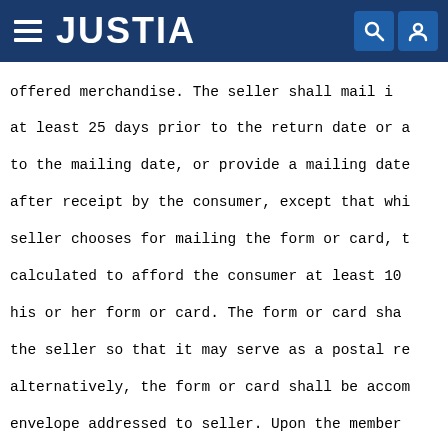JUSTIA
offered merchandise. The seller shall mail it at least 25 days prior to the return date or a to the mailing date, or provide a mailing date after receipt by the consumer, except that whi seller chooses for mailing the form or card, t calculated to afford the consumer at least 10 his or her form or card. The form or card sha the seller so that it may serve as a postal re alternatively, the form or card shall be accom envelope addressed to seller. Upon the member application form or on the same page and immed contract or form, and in clear and conspicuous be disclosed the material terms of the plan or all of the following:
(1) That aspect of the plan under which the the seller, in the manner provided for by the does not wish to purchase or receive the selec